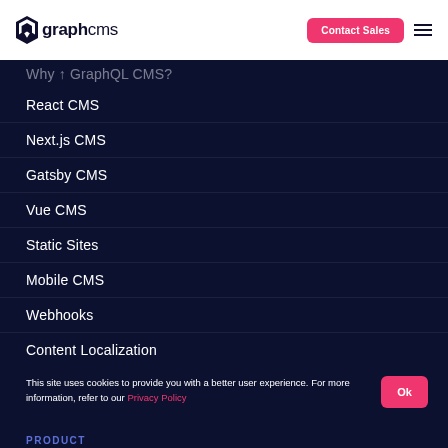graphcms | Contact Sales
Why ↑ GraphQL CMS?
React CMS
Next.js CMS
Gatsby CMS
Vue CMS
Static Sites
Mobile CMS
Webhooks
Content Localization
This site uses cookies to provide you with a better user experience. For more information, refer to our Privacy Policy
PRODUCT